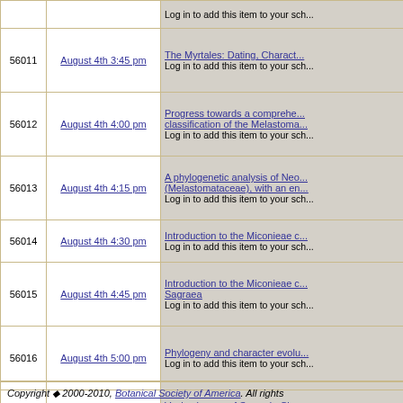| ID | Date/Time | Title/Action |
| --- | --- | --- |
|  |  | Log in to add this item to your sch... |
| 56011 | August 4th 3:45 pm | The Myrtales: Dating, Charact...
Log in to add this item to your sch... |
| 56012 | August 4th 4:00 pm | Progress towards a comprehe...
classification of the Melastoma...
Log in to add this item to your sch... |
| 56013 | August 4th 4:15 pm | A phylogenetic analysis of Neo...
(Melastomataceae), with an en...
Log in to add this item to your sch... |
| 56014 | August 4th 4:30 pm | Introduction to the Miconieae c...
Log in to add this item to your sch... |
| 56015 | August 4th 4:45 pm | Introduction to the Miconieae c...
Sagraea
Log in to add this item to your sch... |
| 56016 | August 4th 5:00 pm | Phylogeny and character evolu...
Log in to add this item to your sch... |
| 56017 | August 4th 5:15 pm | Vochysiaceae of Serra do Cipo...
Log in to add this item to your sch... |
Copyright ◆ 2000-2010, Botanical Society of America. All rights